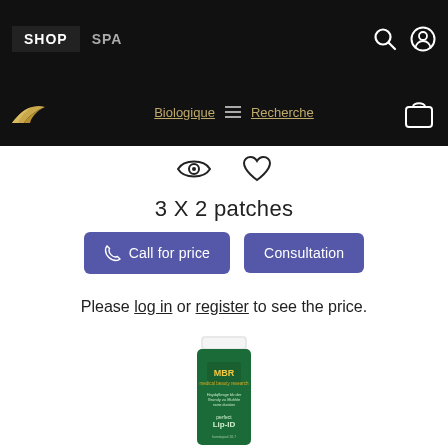SHOP  SPA
[Figure (screenshot): Navigation bar with SHOP and SPA tabs, search icon, user icon on black background. Second row with wing logo, Biologique and Recherche links with hamburger menu, and shopping bag icon.]
[Figure (other): Eye icon and heart icon (wishlist/view buttons)]
3 X 2 patches
[Figure (other): Two purple buttons: 'Call for price' with phone icon and 'Consultation']
Please log in or register to see the price.
[Figure (photo): Green tube of MBR medical beauty research Perfect Lip-ID product]